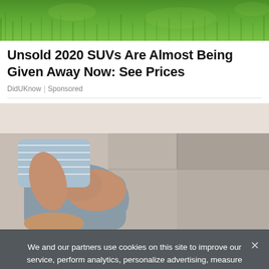[Figure (photo): Green grass background image at the top of the page]
Unsold 2020 SUVs Are Almost Being Given Away Now: See Prices
DidUKnow | Sponsored
[Figure (photo): Person sitting on a gray couch holding their knee/leg, suggesting joint pain]
We and our partners use cookies on this site to improve our service, perform analytics, personalize advertising, measure advertising performance, and remember website preferences.